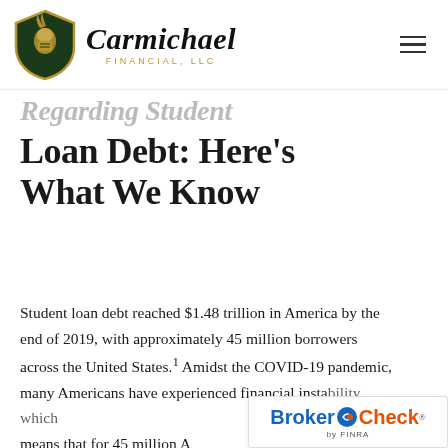Carmichael Financial, LLC
Regarding Student Loan Debt: Here's What We Know
Student loan debt reached $1.48 trillion in America by the end of 2019, with approximately 45 million borrowers across the United States.¹ Amidst the COVID-19 pandemic, many Americans have experienced financial insta[bility, which means that for 45 million A[mericans]
[Figure (logo): BrokerCheck by FINRA logo badge in bottom right corner]